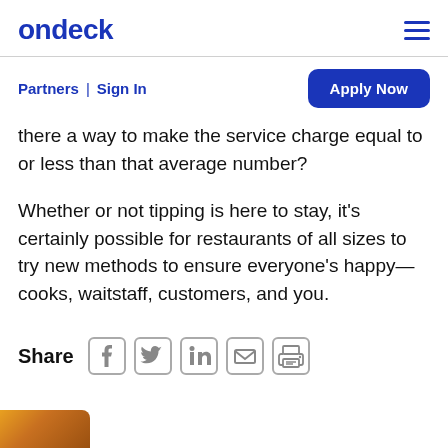ondeck
Partners | Sign In
Apply Now
there a way to make the service charge equal to or less than that average number?
Whether or not tipping is here to stay, it's certainly possible for restaurants of all sizes to try new methods to ensure everyone's happy—cooks, waitstaff, customers, and you.
Share